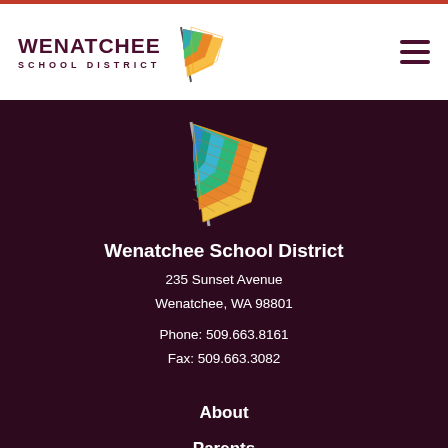[Figure (logo): Wenatchee School District logo with colorful flag icon and maroon text reading WENATCHEE SCHOOL DISTRICT, plus hamburger menu icon]
[Figure (logo): Wenatchee School District large colorful flag logo centered on dark maroon background]
Wenatchee School District
235 Sunset Avenue
Wenatchee, WA 98801
Phone: 509.663.8161
Fax: 509.663.3082
About
Parents